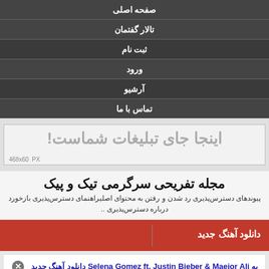صفحه اصلی
تالار گفتمان
ثبت نام
ورود
آرشیو
تماس با ما
[Figure (other): Advertisement placeholder banner reading 'اینجا جای تبلیغات شماست!' with size label 468x60 PX]
مجله تفریحی سرگرمی تیک و پیک
پیوندهای دسترس‌پذیری رد شدن و رفتن به محتوای اصلیراهنمای دسترس‌پذیری بازخورد درباره دسترس‌پذیری ..
دانلود آهنگ جدید
به Selena Gomez ft. Justin Bieber & Maejor Ali دانلود آهنگ جدید